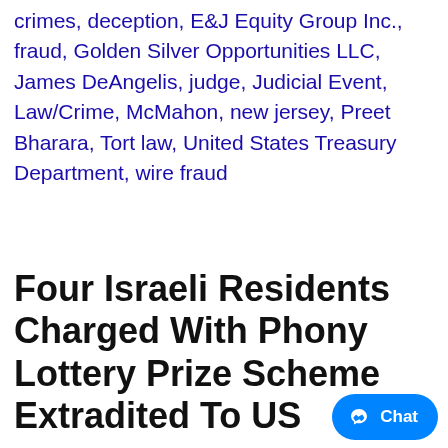crimes, deception, E&J Equity Group Inc., fraud, Golden Silver Opportunities LLC, James DeAngelis, judge, Judicial Event, Law/Crime, McMahon, new jersey, Preet Bharara, Tort law, United States Treasury Department, wire fraud
Four Israeli Residents Charged With Phony Lottery Prize Scheme Extradited To US
January 6, 2012 by Amanda Miller